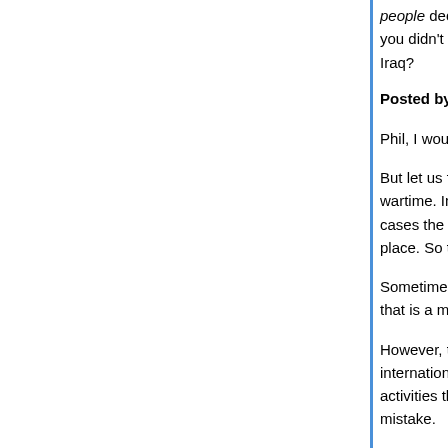people decide to wage war, with "People decide?" you didn't know. Really? You didn't know who dec Iraq?
Posted by: Jesurgislac | January 15, 2009 at 08:44 PM
Phil, I wouldn't go so far as you.
But let us focus on dave's statement about mista wartime. Innocent people do die. Call it collateral cases the innocent people are not the main targe place. So that can qualif as a mistake.
Sometimes a mistake is made on where you are t that is a mistake.
However, to make tio conscious decision to go ag international and US standards of conduct toward activities that any sane person knows are illegal a mistake.
To invade a country that was not and never woul that was not a state sponsor of terrorism any mor countries like Saudi Arabia, Pakistan and others,